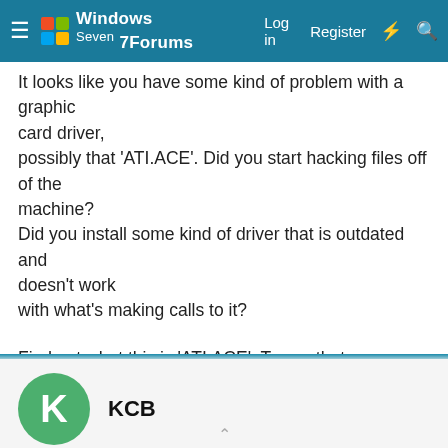Windows 7 Forums  Log in  Register
It looks like you have some kind of problem with a graphic card driver,
possibly that 'ATI.ACE'. Did you start hacking files off of the machine?
Did you install some kind of driver that is outdated and doesn't work
with what's making calls to it?

Find out what this is 'ATI.ACE'. To say that you should be messing
around with the GAC is questionable. Maybe, you need to call the vendor
for a solution if you can determine what 'ATI.ACE' is about.

..
KCB